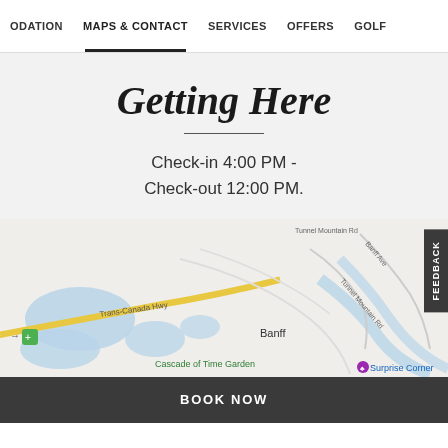ODATION  MAPS & CONTACT  SERVICES  OFFERS  GOLF
Getting Here
Check-in 4:00 PM - Check-out 12:00 PM.
[Figure (map): Google Maps view of Banff area showing Trans-Canada Hwy, Banff Ave, Tunnel Mountain Rd, Bow River, Cascade of Time Garden, and Surprise Corner]
BOOK NOW